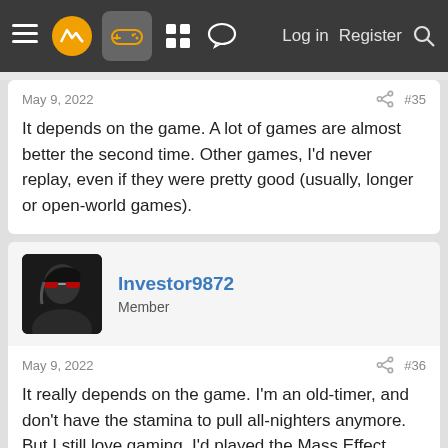Navigation bar with menu, logo, controller icon, grid icon, chat icon, Log in, Register, Search
May 9, 2022   #35
It depends on the game. A lot of games are almost better the second time. Other games, I'd never replay, even if they were pretty good (usually, longer or open-world games).
Investor9872   Member
May 9, 2022   #36
It really depends on the game. I'm an old-timer, and don't have the stamina to pull all-nighters anymore. But I still love gaming. I'd played the Mass Effect series multiple times ages ago, and on different consoles (PS2 and PS3). When it was released on Game Pass, I'd played through all 3 on the XSX and loved every minutes of it. I'm planing to replay The Witcher 3 as well, but the open-world games take so much time and...